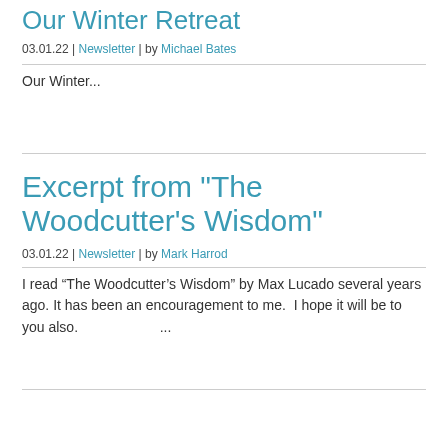Our Winter Retreat
03.01.22 | Newsletter | by Michael Bates
Our Winter...
Excerpt from "The Woodcutter's Wisdom"
03.01.22 | Newsletter | by Mark Harrod
I read “The Woodcutter’s Wisdom” by Max Lucado several years ago. It has been an encouragement to me.  I hope it will be to you also.                    ...